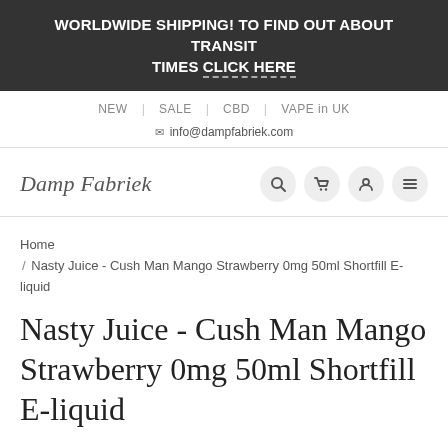WORLDWIDE SHIPPING! TO FIND OUT ABOUT TRANSIT TIMES CLICK HERE
NEW | SALE | CBD | VAPE in UK
info@dampfabriek.com
[Figure (logo): Damp Fabriek logo text in italic serif font]
Home / Nasty Juice - Cush Man Mango Strawberry 0mg 50ml Shortfill E-liquid
Nasty Juice - Cush Man Mango Strawberry 0mg 50ml Shortfill E-liquid